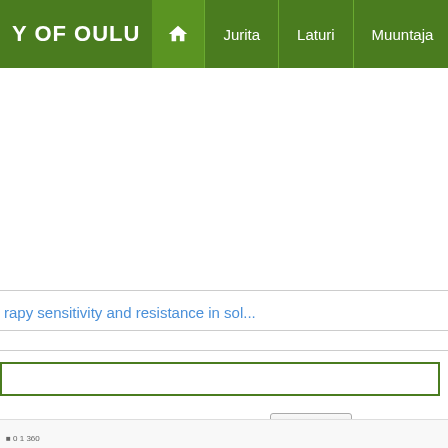Y OF OULU | Home | Jurita | Laturi | Muuntaja
rapy sensitivity and resistance in sol...
[Figure (screenshot): Search input box with green border and a text cursor]
Find | Advanced